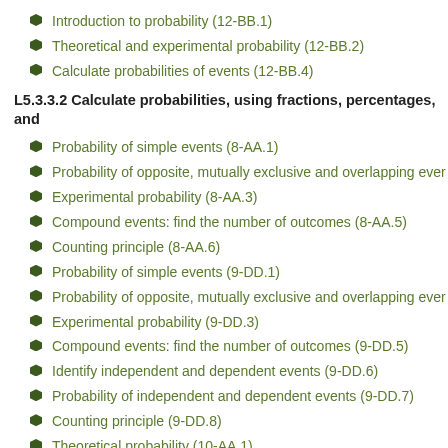Introduction to probability (12-BB.1)
Theoretical and experimental probability (12-BB.2)
Calculate probabilities of events (12-BB.4)
L5.3.3.2 Calculate probabilities, using fractions, percentages, and
Probability of simple events (8-AA.1)
Probability of opposite, mutually exclusive and overlapping even
Experimental probability (8-AA.3)
Compound events: find the number of outcomes (8-AA.5)
Counting principle (8-AA.6)
Probability of simple events (9-DD.1)
Probability of opposite, mutually exclusive and overlapping even
Experimental probability (9-DD.3)
Compound events: find the number of outcomes (9-DD.5)
Identify independent and dependent events (9-DD.6)
Probability of independent and dependent events (9-DD.7)
Counting principle (9-DD.8)
Theoretical probability (10-AA.1)
Experimental probability (10-AA.2)